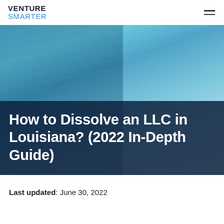VENTURE SMARTER
[Figure (photo): Hero image of a person in a light blue blazer looking at a smartphone, with a blue color overlay. A dark semi-transparent band overlays the lower portion containing the article title.]
How to Dissolve an LLC in Louisiana? (2022 In-Depth Guide)
Last updated: June 30, 2022